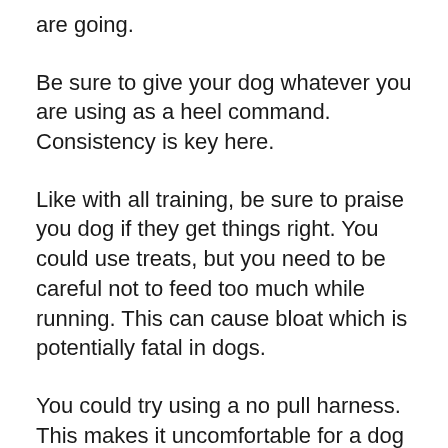are going.
Be sure to give your dog whatever you are using as a heel command. Consistency is key here.
Like with all training, be sure to praise you dog if they get things right. You could use treats, but you need to be careful not to feed too much while running. This can cause bloat which is potentially fatal in dogs.
You could try using a no pull harness. This makes it uncomfortable for a dog to pull. When the dog tries to pull, the harness pulls them to the side. Dogs wearing this type of harness will naturally prefer to keep the lead loose, as the...